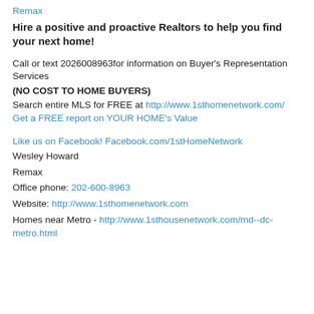Remax
Hire a positive and proactive Realtors to help you find your next home!
Call or text 2026008963for information on Buyer's Representation Services
(NO COST TO HOME BUYERS)
Search entire MLS for FREE at http://www.1sthomenetwork.com/
Get a FREE report on YOUR HOME's Value
Like us on Facebook! Facebook.com/1stHomeNetwork
Wesley Howard
Remax
Office phone: 202-600-8963
Website: http://www.1sthomenetwork.com
Homes near Metro - http://www.1sthousenetwork.com/md--dc-metro.html